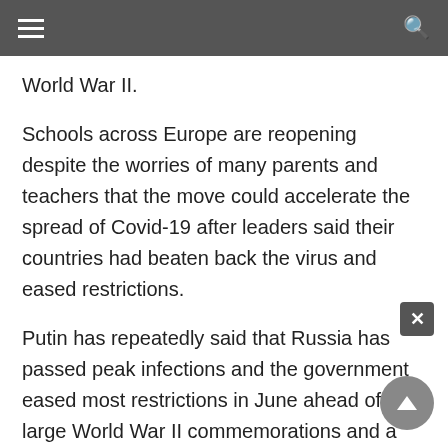World War II.
Schools across Europe are reopening despite the worries of many parents and teachers that the move could accelerate the spread of Covid-19 after leaders said their countries had beaten back the virus and eased restrictions.
Putin has repeatedly said that Russia has passed peak infections and the government eased most restrictions in June ahead of large World War II commemorations and a national vote on a new constitution.
The government's anti-virus information